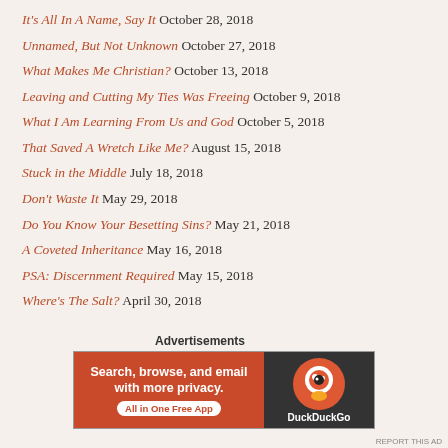It's All In A Name, Say It October 28, 2018
Unnamed, But Not Unknown October 27, 2018
What Makes Me Christian? October 13, 2018
Leaving and Cutting My Ties Was Freeing October 9, 2018
What I Am Learning From Us and God October 5, 2018
That Saved A Wretch Like Me? August 15, 2018
Stuck in the Middle July 18, 2018
Don't Waste It May 29, 2018
Do You Know Your Besetting Sins? May 21, 2018
A Coveted Inheritance May 16, 2018
PSA: Discernment Required May 15, 2018
Where's The Salt? April 30, 2018
Advertisements
[Figure (other): DuckDuckGo advertisement banner: Search, browse, and email with more privacy. All in One Free App.]